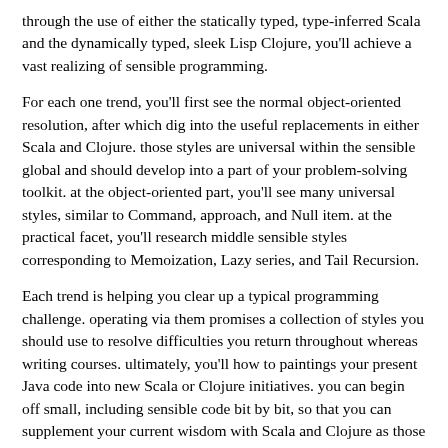through the use of either the statically typed, type-inferred Scala and the dynamically typed, sleek Lisp Clojure, you'll achieve a vast realizing of sensible programming.
For each one trend, you'll first see the normal object-oriented resolution, after which dig into the useful replacements in either Scala and Clojure. those styles are universal within the sensible global and should develop into a part of your problem-solving toolkit. at the object-oriented part, you'll see many universal styles, similar to Command, approach, and Null item. at the practical facet, you'll research middle sensible styles corresponding to Memoization, Lazy series, and Tail Recursion.
Each trend is helping you clear up a typical programming challenge. operating via them promises a collection of styles you should use to resolve difficulties you return throughout whereas writing courses. ultimately, you'll how to paintings your present Java code into new Scala or Clojure initiatives. you can begin off small, including sensible code bit by bit, so that you can supplement your current wisdom with Scala and Clojure as those languages achieve recognition at the JVM.
What You Need
Clojure 1.5 and Scala 2.10.Optionally, Eclipse with plugins.